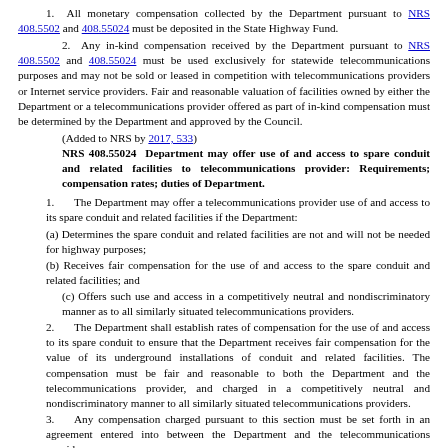1. All monetary compensation collected by the Department pursuant to NRS 408.5502 and 408.55024 must be deposited in the State Highway Fund.
2. Any in-kind compensation received by the Department pursuant to NRS 408.5502 and 408.55024 must be used exclusively for statewide telecommunications purposes and may not be sold or leased in competition with telecommunications providers or Internet service providers. Fair and reasonable valuation of facilities owned by either the Department or a telecommunications provider offered as part of in-kind compensation must be determined by the Department and approved by the Council.
(Added to NRS by 2017, 533)
NRS 408.55024 Department may offer use of and access to spare conduit and related facilities to telecommunications provider: Requirements; compensation rates; duties of Department.
1. The Department may offer a telecommunications provider use of and access to its spare conduit and related facilities if the Department:
(a) Determines the spare conduit and related facilities are not and will not be needed for highway purposes;
(b) Receives fair compensation for the use of and access to the spare conduit and related facilities; and
(c) Offers such use and access in a competitively neutral and nondiscriminatory manner as to all similarly situated telecommunications providers.
2. The Department shall establish rates of compensation for the use of and access to its spare conduit to ensure that the Department receives fair compensation for the value of its underground installations of conduit and related facilities. The compensation must be fair and reasonable to both the Department and the telecommunications provider, and charged in a competitively neutral and nondiscriminatory manner to all similarly situated telecommunications providers.
3. Any compensation charged pursuant to this section must be set forth in an agreement entered into between the Department and the telecommunications provider.
4. The Department shall: